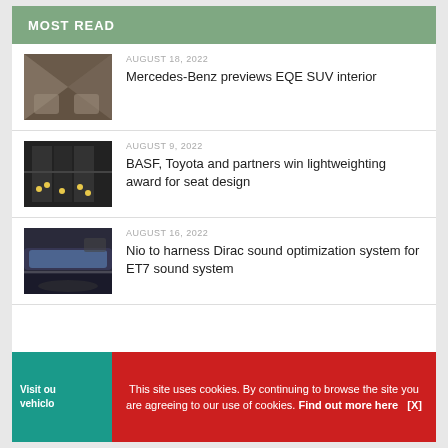MOST READ
AUGUST 18, 2022
[Figure (photo): Car interior with diamond-pattern seats in brown and gray tones]
Mercedes-Benz previews EQE SUV interior
AUGUST 9, 2022
[Figure (photo): Automotive seat crash test or manufacturing rig with yellow components]
BASF, Toyota and partners win lightweighting award for seat design
AUGUST 16, 2022
[Figure (photo): Car interior dashboard with wide curved display screen]
Nio to harness Dirac sound optimization system for ET7 sound system
Visit our vehicle...
This site uses cookies. By continuing to browse the site you are agreeing to our use of cookies. Find out more here  [X]